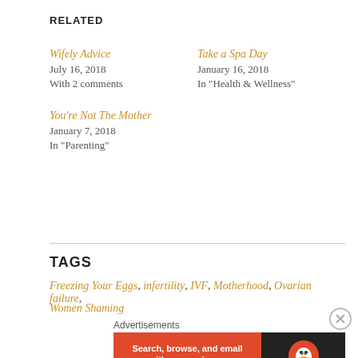RELATED
Wifely Advice
July 16, 2018
With 2 comments
Take a Spa Day
January 16, 2018
In "Health & Wellness"
You're Not The Mother
January 7, 2018
In "Parenting"
TAGS
Freezing Your Eggs, infertility, IVF, Motherhood, Ovarian failure,
Women Shaming
Advertisements
[Figure (screenshot): DuckDuckGo advertisement banner: Search, browse, and email with more privacy. All in One Free App. DuckDuckGo logo on right.]